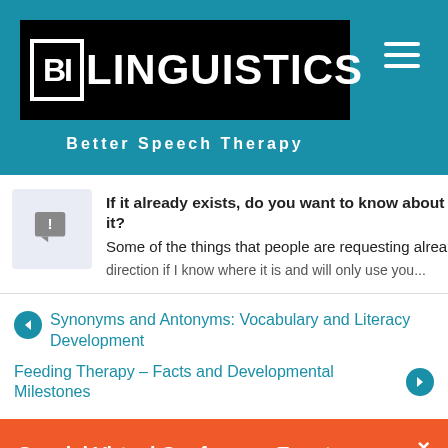[Figure (logo): BiLinguistics Better Speech Therapy logo on teal header background with hamburger menu icon]
If it already exists, do you want to know about it? Some of the things that people are requesting alrea direction if I know where it is and will only use you...
Synonyms and Antonyms: Vocabulary and Literacy Development
Feeding Therapy – Facts and Developmental Milestones
Special Virtual Conference Event on New Technologies Addressing Stuttering: Wednesday August 24th!
FIND OUT MORE